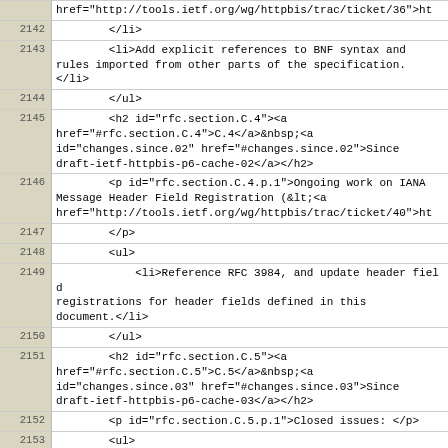href="http://tools.ietf.org/wg/httpbis/trac/ticket/36">ht
2142    </li>
2143    <li>Add explicit references to BNF syntax and rules imported from other parts of the specification.</li>
2144    </ul>
2145    <h2 id="rfc.section.C.4"><a href="#rfc.section.C.4">C.4</a>&nbsp;<a id="changes.since.02" href="#changes.since.02">Since draft-ietf-httpbis-p6-cache-02</a></h2>
2146    <p id="rfc.section.C.4.p.1">Ongoing work on IANA Message Header Field Registration (&lt;<a href="http://tools.ietf.org/wg/httpbis/trac/ticket/40">ht
2147    </p>
2148    <ul>
2149    <li>Reference RFC 3984, and update header field registrations for header fields defined in this document.</li>
2150    </ul>
2151    <h2 id="rfc.section.C.5"><a href="#rfc.section.C.5">C.5</a>&nbsp;<a id="changes.since.03" href="#changes.since.03">Since draft-ietf-httpbis-p6-cache-03</a></h2>
2152    <p id="rfc.section.C.5.p.1">Closed issues: </p>
2153    <ul>
2154    <li> &lt;<a href="http://tools.ietf.org/wg/httpbis/trac/ticket/106">h "Vary header classification"
2155    </li>
2156    </ul>
2157    <h2 id="rfc.section.C.6"><a href="#rfc.section.C.6">C.6</a>&nbsp;<a id="changes.since.04" href="#changes.since.04">Since draft-ietf-httpbis-p6-cache-04</a></h2>
2158    <p id="rfc.section.C.6.p.1">Ongoing work on ABNF